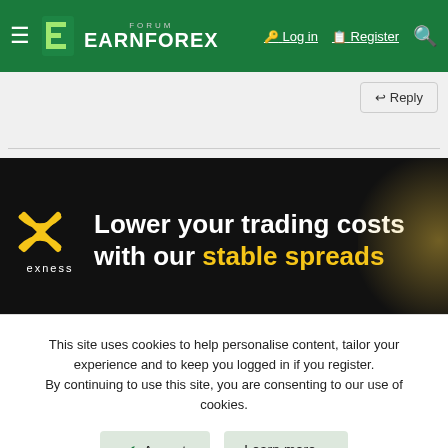FORUM EARNFOREX — Log in | Register
Reply
[Figure (illustration): Exness advertisement banner: 'Lower your trading costs with our stable spreads' on black background with Exness logo and yellow/gold glow effect]
BullseyeFX
Trader
This site uses cookies to help personalise content, tailor your experience and to keep you logged in if you register. By continuing to use this site, you are consenting to our use of cookies.
Accept | Learn more...